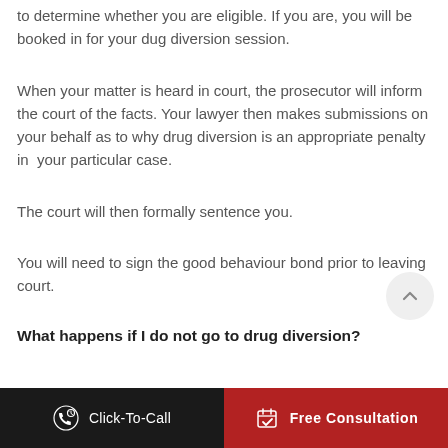to determine whether you are eligible. If you are, you will be booked in for your dug diversion session.
When your matter is heard in court, the prosecutor will inform the court of the facts. Your lawyer then makes submissions on your behalf as to why drug diversion is an appropriate penalty in your particular case.
The court will then formally sentence you.
You will need to sign the good behaviour bond prior to leaving court.
What happens if I do not go to drug diversion?
Click-To-Call | Free Consultation